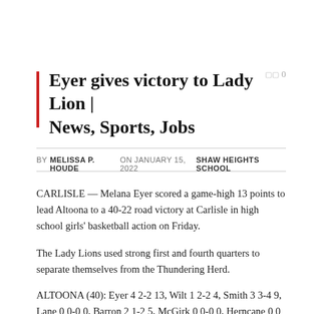Eyer gives victory to Lady Lion | News, Sports, Jobs
BY MELISSA P. HOUDE ON JANUARY 15, 2022   SHAW HEIGHTS SCHOOL
CARLISLE — Melana Eyer scored a game-high 13 points to lead Altoona to a 40-22 road victory at Carlisle in high school girls' basketball action on Friday.
The Lady Lions used strong first and fourth quarters to separate themselves from the Thundering Herd.
ALTOONA (40): Eyer 4 2-2 13, Wilt 1 2-2 4, Smith 3 3-4 9, Lane 0 0-0 0, Barron 2 1-2 5, McGirk 0 0-0 0, Herncane 0 0 -0 0, Gibson 3 1-1 7,